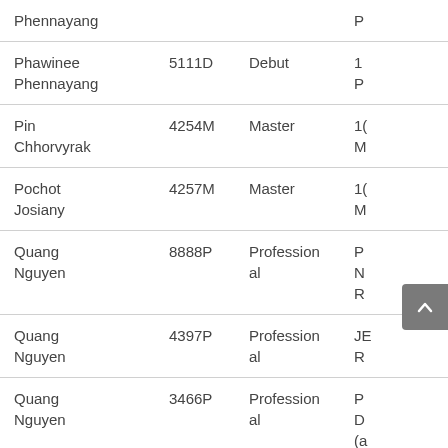| Name | ID | Level | Details |
| --- | --- | --- | --- |
| Phennayang |  |  | P... |
| Phawinee Phennayang | 5111D | Debut | 1... P... |
| Pin Chhorvyrak | 4254M | Master | 1( M... |
| Pochot Josiany | 4257M | Master | 1( M... |
| Quang Nguyen | 8888P | Professional | P... N... R... |
| Quang Nguyen | 4397P | Professional | JE... R... |
| Quang Nguyen | 3466P | Professional | P... D... (a... |